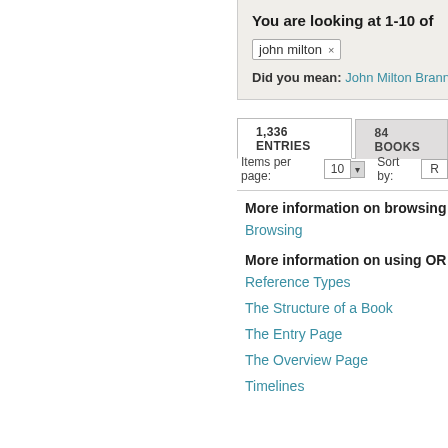You are looking at 1-10 of
john milton ×
Did you mean: John Milton Brann
1,336 ENTRIES
84 BOOKS
Items per page: 10 ▾   Sort by: R
More information on browsing
Browsing
More information on using OR
Reference Types
The Structure of a Book
The Entry Page
The Overview Page
Timelines